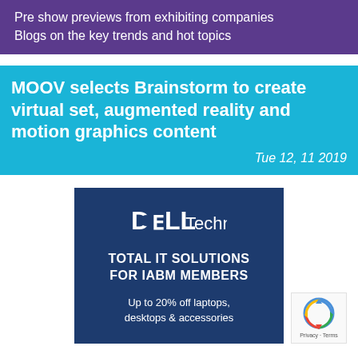Pre show previews from exhibiting companies
Blogs on the key trends and hot topics
MOOV selects Brainstorm to create virtual set, augmented reality and motion graphics content
Tue 12, 11 2019
[Figure (logo): Dell Technologies advertisement banner with dark blue background. Shows Dell Technologies logo, text 'TOTAL IT SOLUTIONS FOR IABM MEMBERS', and 'Up to 20% off laptops, desktops & accessories']
[Figure (logo): reCAPTCHA badge with Privacy - Terms text]